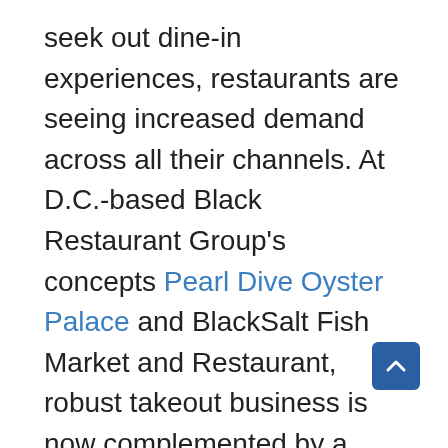seek out dine-in experiences, restaurants are seeing increased demand across all their channels. At D.C.-based Black Restaurant Group's concepts Pearl Dive Oyster Palace and BlackSalt Fish Market and Restaurant, robust takeout business is now complemented by a high number of dine-in customers. With a historically tight labor market, they have been able to serve more guests with fewer staff in the restaurants that are using GoTab's restaurant POS for table service. "With GoTab, the experience is interactive. Guests can browse the menu with enticing imagery and order directly from their mobile phone," said Jon Linck, Partner and Director of Operations at Black Restaurant Group. "People are coming out more and getting more comfortable. They're looking for hospitality, good service, good food, the whole